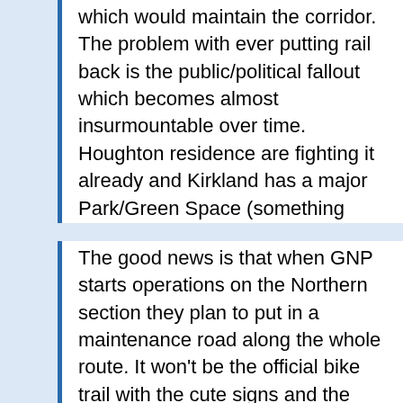which would maintain the corridor. The problem with ever putting rail back is the public/political fallout which becomes almost insurmountable over time. Houghton residence are fighting it already and Kirkland has a major Park/Green Space (something forrest) along the tracks just north of town. The folks along the 405 ROW south of Wilburton and North of I-90 fought against Link using the ROW.
The good news is that when GNP starts operations on the Northern section they plan to put in a maintenance road along the whole route. It won't be the official bike trail with the cute signs and the aggravating bollards at every crossing but it should be a nice trail. I believe they were talking about paving but I could be wrong on that. There's